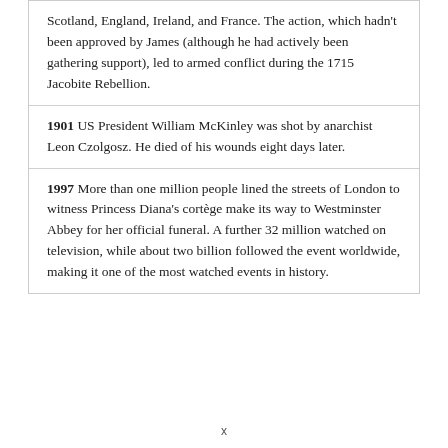Scotland, England, Ireland, and France. The action, which hadn't been approved by James (although he had actively been gathering support), led to armed conflict during the 1715 Jacobite Rebellion.
1901 US President William McKinley was shot by anarchist Leon Czolgosz. He died of his wounds eight days later.
1997 More than one million people lined the streets of London to witness Princess Diana's cortège make its way to Westminster Abbey for her official funeral. A further 32 million watched on television, while about two billion followed the event worldwide, making it one of the most watched events in history.